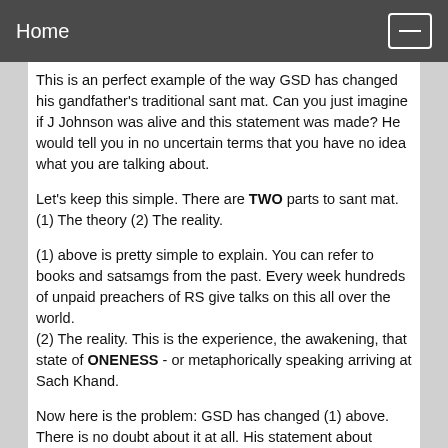Home
This is an perfect example of the way GSD has changed his gandfather's traditional sant mat. Can you just imagine if J Johnson was alive and this statement was made? He would tell you in no uncertain terms that you have no idea what you are talking about.
Let's keep this simple. There are TWO parts to sant mat. (1) The theory (2) The reality.
(1) above is pretty simple to explain. You can refer to books and satsamgs from the past. Every week hundreds of unpaid preachers of RS give talks on this all over the world.
(2) The reality. This is the experience, the awakening, that state of ONENESS - or metaphorically speaking arriving at Sach Khand.
Now here is the problem: GSD has changed (1) above. There is no doubt about it at all. His statement about initiation is just ONE of the changes he has made. Another one is that he has CHANGED the goal into one of REALISING the lord. Another change is about